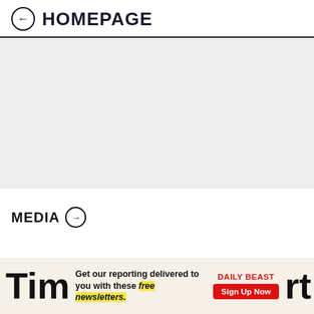← HOMEPAGE
[Figure (other): Large light gray placeholder content area]
MEDIA →
Get our reporting delivered to you with these free newsletters. DAILY BEAST Sign Up Now